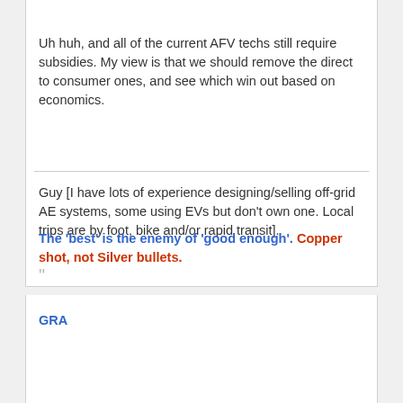Uh huh, and all of the current AFV techs still require subsidies. My view is that we should remove the direct to consumer ones, and see which win out based on economics.
Guy [I have lots of experience designing/selling off-grid AE systems, some using EVs but don't own one. Local trips are by foot, bike and/or rapid transit].
The 'best' is the enemy of 'good enough'. Copper shot, not Silver bullets.
GRA